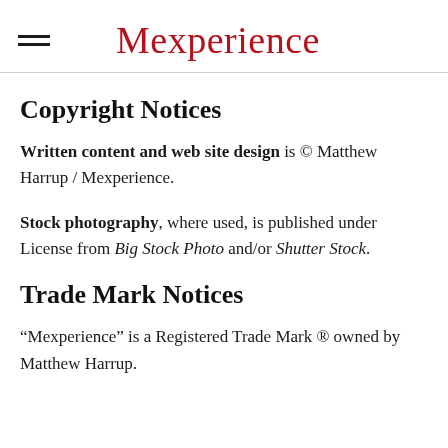Mexperience
Copyright Notices
Written content and web site design is © Matthew Harrup / Mexperience.
Stock photography, where used, is published under License from Big Stock Photo and/or Shutter Stock.
Trade Mark Notices
“Mexperience” is a Registered Trade Mark ® owned by Matthew Harrup.